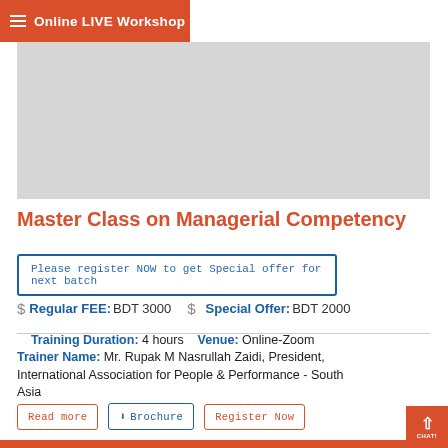Online LIVE Workshop
[Figure (photo): Gray placeholder image area for workshop banner]
Master Class on Managerial Competency
Please register NOW to get Special offer for next batch
Regular FEE: BDT 3000   Special Offer: BDT 2000
Training Duration: 4 hours  Venue: Online-Zoom  Trainer Name: Mr. Rupak M Nasrullah Zaidi, President, International Association for People & Performance - South Asia